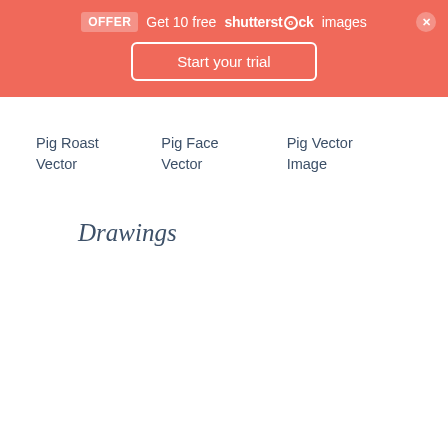OFFER  Get 10 free shutterstock images
Start your trial
Pig Roast Vector
Pig Face Vector
Pig Vector Image
Drawings